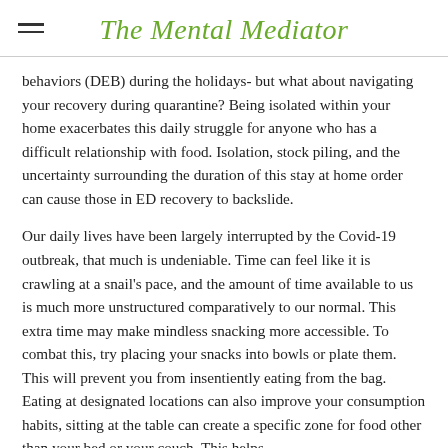The Mental Mediator
behaviors (DEB) during the holidays- but what about navigating your recovery during quarantine? Being isolated within your home exacerbates this daily struggle for anyone who has a difficult relationship with food. Isolation, stock piling, and the uncertainty surrounding the duration of this stay at home order can cause those in ED recovery to backslide.
Our daily lives have been largely interrupted by the Covid-19 outbreak, that much is undeniable. Time can feel like it is crawling at a snail's pace, and the amount of time available to us is much more unstructured comparatively to our normal. This extra time may make mindless snacking more accessible. To combat this, try placing your snacks into bowls or plate them. This will prevent you from insentiently eating from the bag. Eating at designated locations can also improve your consumption habits, sitting at the table can create a specific zone for food other than your bed or your couch. This helps